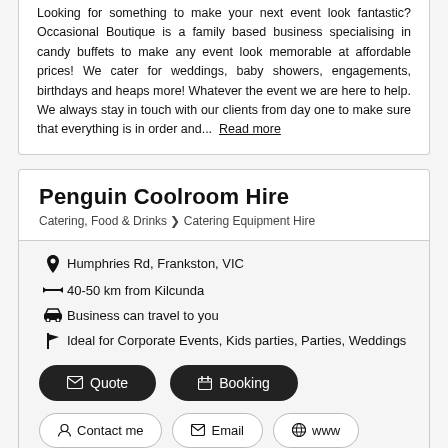Looking for something to make your next event look fantastic? Occasional Boutique is a family based business specialising in candy buffets to make any event look memorable at affordable prices! We cater for weddings, baby showers, engagements, birthdays and heaps more! Whatever the event we are here to help. We always stay in touch with our clients from day one to make sure that everything is in order and... Read more
Penguin Coolroom Hire
Catering, Food & Drinks > Catering Equipment Hire
Humphries Rd, Frankston, VIC
40-50 km from Kilcunda
Business can travel to you
Ideal for Corporate Events, Kids parties, Parties, Weddings
Quote
Booking
Contact me
Email
www